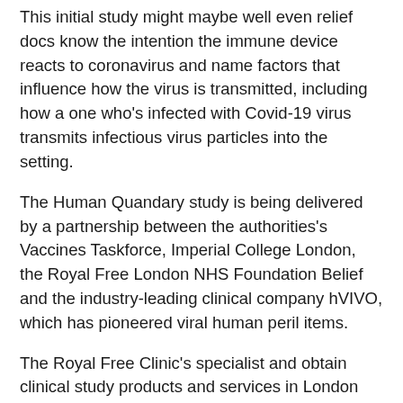This initial study might maybe well even relief docs know the intention the immune device reacts to coronavirus and name factors that influence how the virus is transmitted, including how a one who's infected with Covid-19 virus transmits infectious virus particles into the setting.
The Human Quandary study is being delivered by a partnership between the authorities's Vaccines Taskforce, Imperial College London, the Royal Free London NHS Foundation Belief and the industry-leading clinical company hVIVO, which has pioneered viral human peril items.
The Royal Free Clinic's specialist and obtain clinical study products and services in London are namely designed to contain the virus. Highly trained medics and scientists shall be on hand to fastidiously examine how the virus behaves in the physique and to be certain the security of volunteers.
The virus being historical in the characterisation study has been